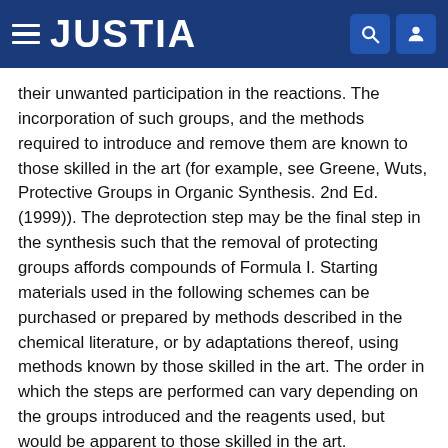JUSTIA
their unwanted participation in the reactions. The incorporation of such groups, and the methods required to introduce and remove them are known to those skilled in the art (for example, see Greene, Wuts, Protective Groups in Organic Synthesis. 2nd Ed. (1999)). The deprotection step may be the final step in the synthesis such that the removal of protecting groups affords compounds of Formula I. Starting materials used in the following schemes can be purchased or prepared by methods described in the chemical literature, or by adaptations thereof, using methods known by those skilled in the art. The order in which the steps are performed can vary depending on the groups introduced and the reagents used, but would be apparent to those skilled in the art.
Compounds of any of Formula I, II, III, IV, as depicted